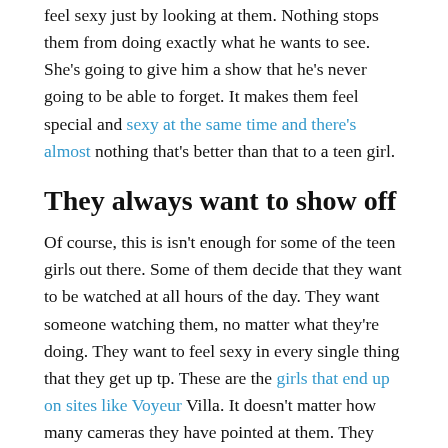feel sexy just by looking at them. Nothing stops them from doing exactly what he wants to see. She's going to give him a show that he's never going to be able to forget. It makes them feel special and sexy at the same time and there's almost nothing that's better than that to a teen girl.
They always want to show off
Of course, this is isn't enough for some of the teen girls out there. Some of them decide that they want to be watched at all hours of the day. They want someone watching them, no matter what they're doing. They want to feel sexy in every single thing that they get up tp. These are the girls that end up on sites like Voyeur Villa. It doesn't matter how many cameras they have pointed at them. They love it. They want to be so sexy that people want to stare at them when they do the most mundane things possible. These are the girls who end up with the self confidence that it